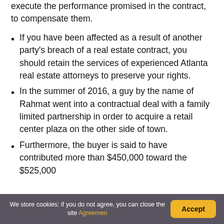execute the performance promised in the contract, to compensate them.
If you have been affected as a result of another party's breach of a real estate contract, you should retain the services of experienced Atlanta real estate attorneys to preserve your rights.
In the summer of 2016, a guy by the name of Rahmat went into a contractual deal with a family limited partnership in order to acquire a retail center plaza on the other side of town.
Furthermore, the buyer is said to have contributed more than $450,000 toward the $525,000
We store cookies: if you do not agree, you can close the site Agreemen  Accept